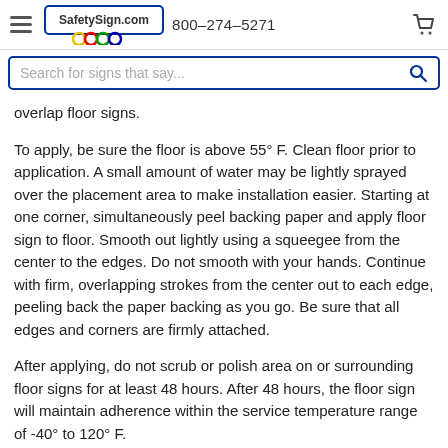SafetySign.com  800-274-5271
Search for signs that say...
overlap floor signs.
To apply, be sure the floor is above 55° F. Clean floor prior to application. A small amount of water may be lightly sprayed over the placement area to make installation easier. Starting at one corner, simultaneously peel backing paper and apply floor sign to floor. Smooth out lightly using a squeegee from the center to the edges. Do not smooth with your hands. Continue with firm, overlapping strokes from the center out to each edge, peeling back the paper backing as you go. Be sure that all edges and corners are firmly attached.
After applying, do not scrub or polish area on or surrounding floor signs for at least 48 hours. After 48 hours, the floor sign will maintain adherence within the service temperature range of -40° to 120° F.
When removed, there may be some residue of adhesive that can be removed with detergent, depending on the surface. It's also